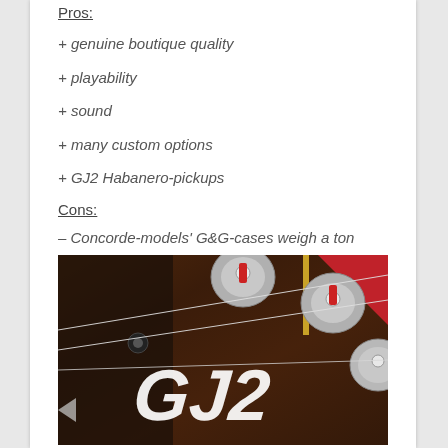Pros:
+ genuine boutique quality
+ playability
+ sound
+ many custom options
+ GJ2 Habanero-pickups
Cons:
– Concorde-models' G&G-cases weigh a ton
[Figure (photo): Close-up photo of a GJ2 guitar headstock showing tuning pegs and strings against a dark wood body, with the GJ2 logo in silver lettering]